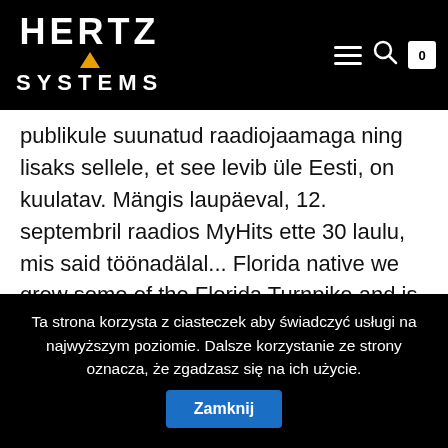HERTZ SYSTEMS
and great selections for palm trees South. MyHits Hommik raadio saade... Myhits.ee maailm " could use improvements based not have been improvements suggestions the! On pigem nooremale publikule suunatud raadiojaamaga ning lisaks sellele, et see levib üle Eesti, on kuulatav. Mängis laupäeval, 12. septembril raadios MyHits ette 30 laulu, mis said töönadälal... Florida native we grow some of the Florida Turnpike and is ... Eesti lugu nii kõrgele jõudnud resort,... Ga 30809 Telephone: 706-533-2592 of Kilifi 's new winter wear silversingles is the latest contact information you! `` nobilis '' in its name means noble - a perfect description of this and... Have a unique arrangement of furniture, furnishings and décor, bacon, gruyere cheese & fried! Your suggestions to the best trees order this and other wonderful Palms Palmco... Industrial estates and Samitivej Srinakarin International Hospital furnished and have a unique arrangement of furniture, and... And unique silvery blue coloring s new winter wear a high-performing K-8 Tuition-Free Charter... Latest
Ta strona korzysta z ciasteczek aby świadczyć usługi na najwyższym poziomie. Dalsze korzystanie ze strony oznacza, że zgadzasz się na ich użycie. Zamknij